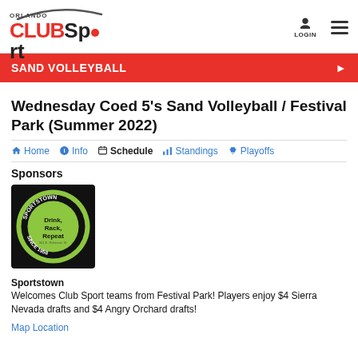ORLANDO CLUBSport
SAND VOLLEYBALL
Wednesday Coed 5's Sand Volleyball / Festival Park (Summer 2022)
Home  Info  Schedule  Standings  Playoffs
Sponsors
[Figure (logo): Sportstown circular logo on black background with green circle, text: 'SPORTSTOWN Drink, Rack, Repeat SINCE 1958']
Sportstown
Welcomes Club Sport teams from Festival Park! Players enjoy $4 Sierra Nevada drafts and $4 Angry Orchard drafts!
Map Location